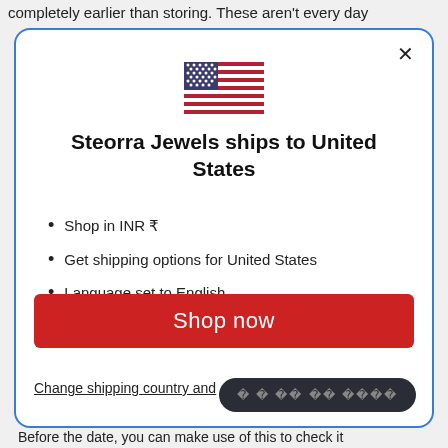completely earlier than storing. These aren't every day
[Figure (illustration): US flag emoji/icon centered at the top of the modal]
Steorra Jewels ships to United States
Shop in INR ₹
Get shipping options for United States
Language set to English
Shop now
Change shipping country and
beyond